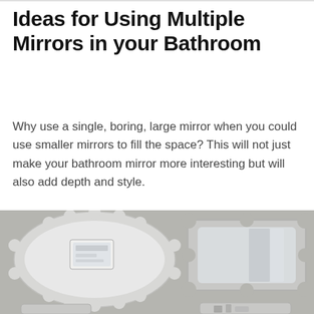Ideas for Using Multiple Mirrors in your Bathroom
Why use a single, boring, large mirror when you could use smaller mirrors to fill the space? This will not just make your bathroom mirror more interesting but will also add depth and style.
[Figure (photo): Photograph of two decorative bathroom mirrors mounted on a light grey wall. On the left is a large oval mirror with a scalloped white frame, partially reflecting a digital screen. On the right is a rectangular mirror with a scalloped/wavy edge. At the bottom, partial views of additional mirrors are visible.]